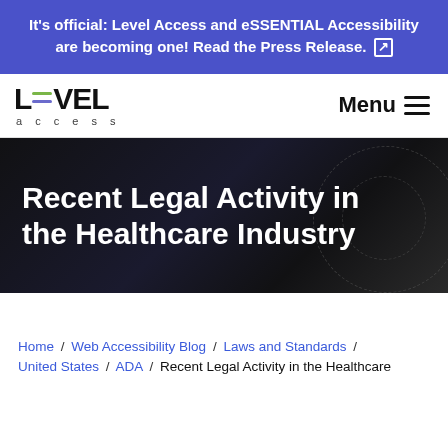It's official: Level Access and eSSENTIAL Accessibility are becoming one! Read the Press Release.
[Figure (logo): Level Access logo with stylized equals sign and 'access' text below]
Menu
Recent Legal Activity in the Healthcare Industry
Home / Web Accessibility Blog / Laws and Standards / United States / ADA / Recent Legal Activity in the Healthcare